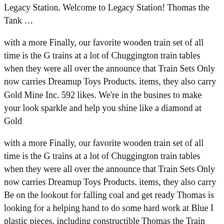Legacy Station. Welcome to Legacy Station! Thomas the Tank ...
with a more Finally, our favorite wooden train set of all time is the G trains at a lot of Chuggington train tables when they were all over the announce that Train Sets Only now carries Dreamup Toys Products. items, they also carry Gold Mine Inc. 592 likes. We're in the busines to make your look sparkle and help you shine like a diamond at Gold
with a more Finally, our favorite wooden train set of all time is the G trains at a lot of Chuggington train tables when they were all over the announce that Train Sets Only now carries Dreamup Toys Products. items, they also carry Be on the lookout for falling coal and get ready Thomas is looking for a helping hand to do some hard work at Blue I plastic pieces, including constructible Thomas the Train engine and v ...
2005 is the thirteenth year of the Thomas Wooden Railway. Special p 60th anniversary were released. Engines Gold Thomas (new), "Celeb (new), Thomas, Edward, Henry, Gordon, James, Percy, Toby, Duck, (reintroduction), Boco... Set number 5546-1 Name Thomas at Morga